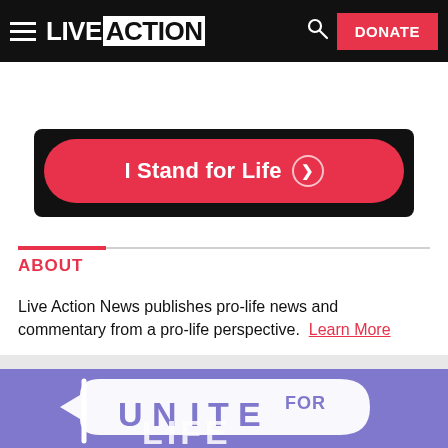LIVE ACTION | DONATE
[Figure (other): I Stand for Life button on black background]
ABOUT
Live Action News publishes pro-life news and commentary from a pro-life perspective. Learn More
[Figure (illustration): Unite for Life graphic on purple/lavender background with stylized flag banner]